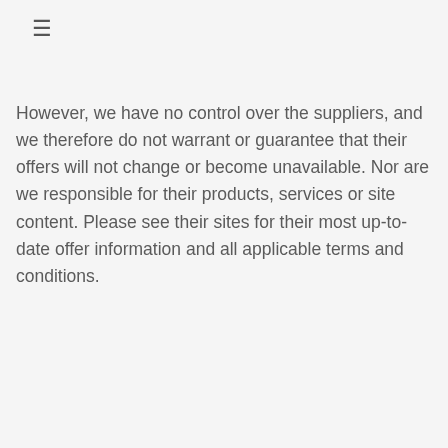≡
However, we have no control over the suppliers, and we therefore do not warrant or guarantee that their offers will not change or become unavailable. Nor are we responsible for their products, services or site content. Please see their sites for their most up-to-date offer information and all applicable terms and conditions.